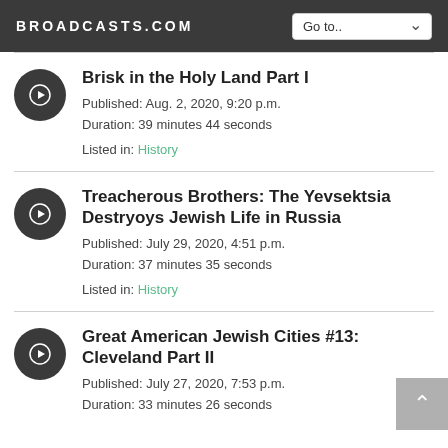BROADCASTS.COM
Brisk in the Holy Land Part I
Published: Aug. 2, 2020, 9:20 p.m.
Duration: 39 minutes 44 seconds
Listed in: History
Treacherous Brothers: The Yevsektsia Destryoys Jewish Life in Russia
Published: July 29, 2020, 4:51 p.m.
Duration: 37 minutes 35 seconds
Listed in: History
Great American Jewish Cities #13: Cleveland Part II
Published: July 27, 2020, 7:53 p.m.
Duration: 33 minutes 26 seconds